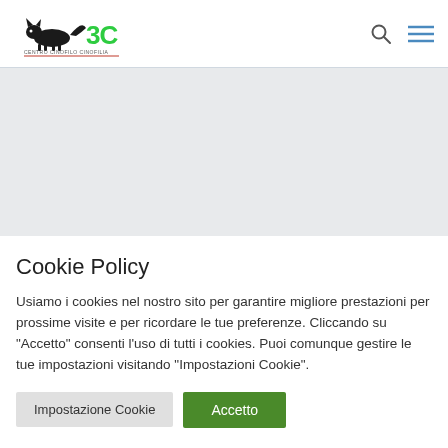[Figure (logo): 3C Centro Cinofilo Cinofilia logo with black cat/dog silhouette and green/black text]
[Figure (other): Grey content area placeholder]
Cookie Policy
Usiamo i cookies nel nostro sito per garantire migliore prestazioni per prossime visite e per ricordare le tue preferenze. Cliccando su "Accetto" consenti l'uso di tutti i cookies. Puoi comunque gestire le tue impostazioni visitando "Impostazioni Cookie".
Impostazione Cookie | Accetto